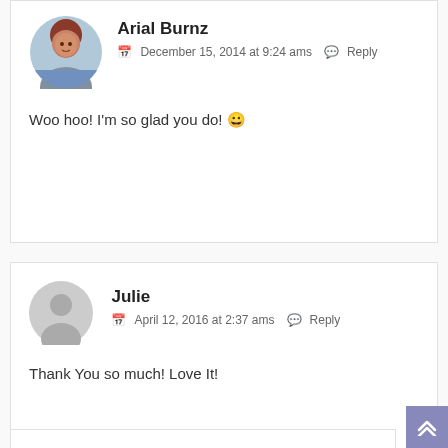[Figure (photo): Round avatar photo of Arial Burnz, a woman with red/brown hair]
Arial Burnz
December 15, 2014 at 9:24 ams   Reply
Woo hoo! I'm so glad you do! 😀
[Figure (illustration): Default grey round avatar placeholder for user Julie]
Julie
April 12, 2016 at 2:37 ams   Reply
Thank You so much! Love It!